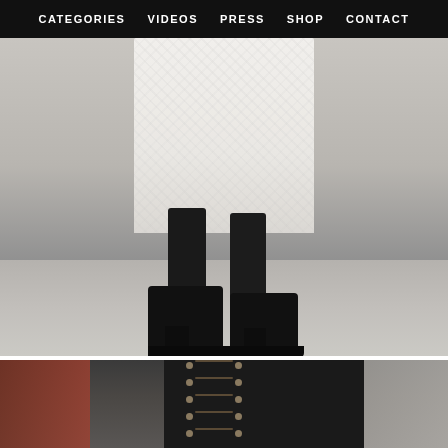CATEGORIES  VIDEOS  PRESS  SHOP  CONTACT
[Figure (photo): Street style photo showing lower half of a person wearing a white lace midi dress with black platform lace-up ankle boots and sheer black socks, standing on a sidewalk]
[Figure (photo): Close-up street style photo of a person wearing black lace-up ankle boots with gold eyelets, against an urban backdrop with red brick wall on the left]